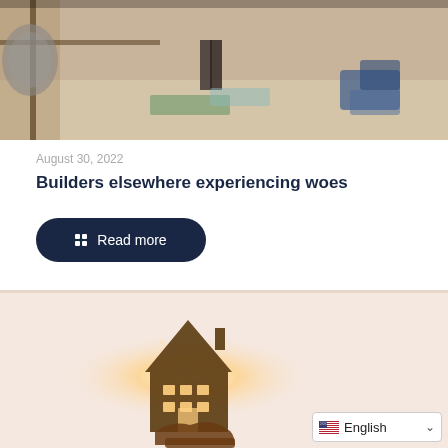[Figure (photo): Construction site interior photo showing floors, scaffolding and building materials]
August 30, 2022
Builders elsewhere experiencing woes
[Figure (other): Read more button with grid icon on dark navy background]
[Figure (photo): Hand holding a wooden house cutout with sunlight shining through it against a light pink background]
English